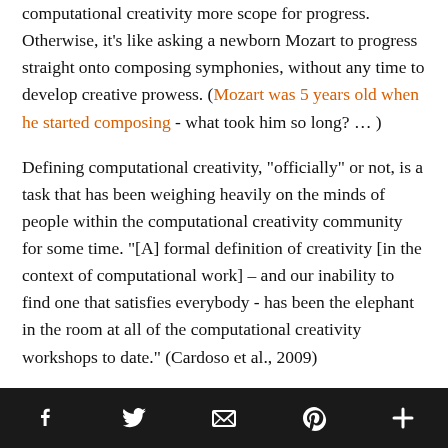computational creativity more scope for progress. Otherwise, it's like asking a newborn Mozart to progress straight onto composing symphonies, without any time to develop creative prowess. (Mozart was 5 years old when he started composing - what took him so long? … )
Defining computational creativity, "officially" or not, is a task that has been weighing heavily on the minds of people within the computational creativity community for some time. "[A] formal definition of creativity [in the context of computational work] – and our inability to find one that satisfies everybody - has been the elephant in the room at all of the computational creativity workshops to date." (Cardoso et al., 2009)
There have been many contributions from an array of
f  Twitter  Email  Pinterest  +